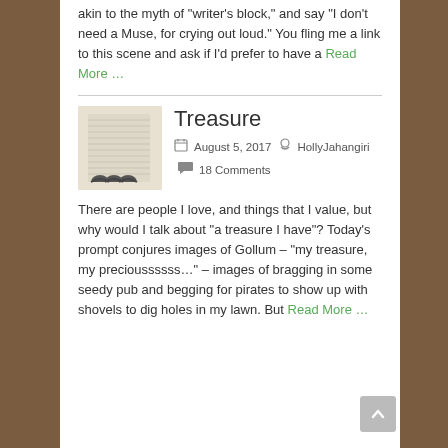akin to the myth of "writer's block," and say "I don't need a Muse, for crying out loud." You fling me a link to this scene and ask if I'd prefer to have a Read More …
Treasure
August 5, 2017  HollyJahangiri  18 Comments
[Figure (photo): Close-up photo of what appears to be stacked or fanned pages of a book or paper with dark cut-out notches visible]
There are people I love, and things that I value, but why would I talk about "a treasure I have"? Today's prompt conjures images of Gollum – "my treasure, my precioussssss…" – images of bragging in some seedy pub and begging for pirates to show up with shovels to dig holes in my lawn. But Read More …